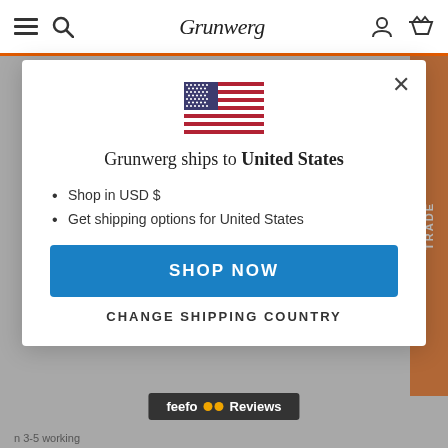Grunwerg
[Figure (screenshot): US flag SVG inline illustration]
Grunwerg ships to United States
Shop in USD $
Get shipping options for United States
SHOP NOW
CHANGE SHIPPING COUNTRY
feefo Reviews
3-5 working